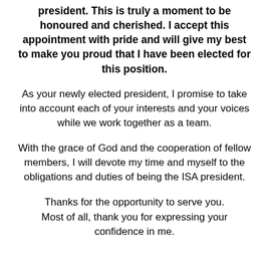president. This is truly a moment to be honoured and cherished. I accept this appointment with pride and will give my best to make you proud that I have been elected for this position.
As your newly elected president, I promise to take into account each of your interests and your voices while we work together as a team.
With the grace of God and the cooperation of fellow members, I will devote my time and myself to the obligations and duties of being the ISA president.
Thanks for the opportunity to serve you. Most of all, thank you for expressing your confidence in me.